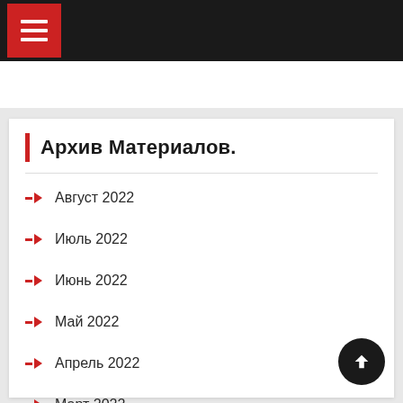Navigation bar with hamburger menu
Архив Материалов.
Август 2022
Июль 2022
Июнь 2022
Май 2022
Апрель 2022
Март 2022